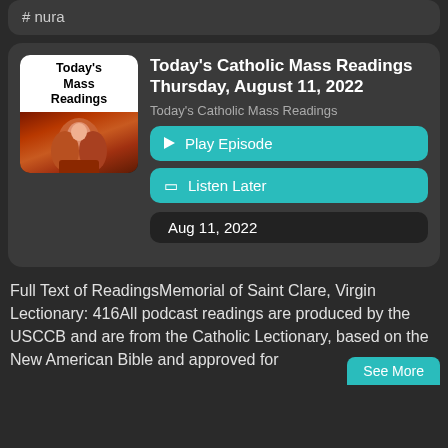# nura
Today's Catholic Mass Readings Thursday, August 11, 2022
Today's Catholic Mass Readings
▶ Play Episode
Listen Later
Aug 11, 2022
Full Text of ReadingsMemorial of Saint Clare, Virgin Lectionary: 416All podcast readings are produced by the USCCB and are from the Catholic Lectionary, based on the New American Bible and approved for
See More